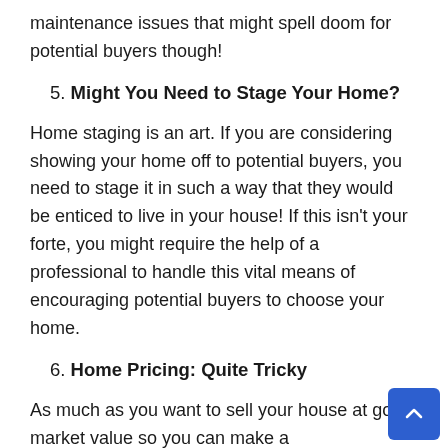maintenance issues that might spell doom for potential buyers though!
5. Might You Need to Stage Your Home?
Home staging is an art. If you are considering showing your home off to potential buyers, you need to stage it in such a way that they would be enticed to live in your house! If this isn't your forte, you might require the help of a professional to handle this vital means of encouraging potential buyers to choose your home.
6. Home Pricing: Quite Tricky
As much as you want to sell your house at good market value so you can make a